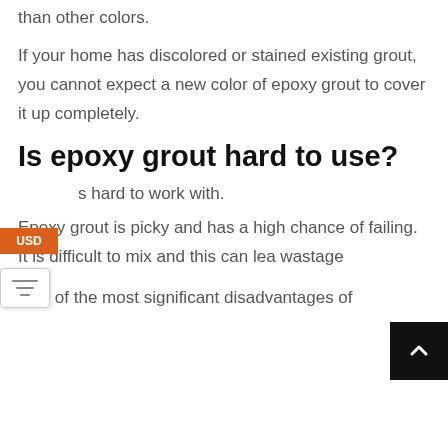than other colors.
If your home has discolored or stained existing grout, you cannot expect a new color of epoxy grout to cover it up completely.
Is epoxy grout hard to use?
s hard to work with.
Epoxy grout is picky and has a high chance of failing. It is difficult to mix and this can lea wastage
One of the most significant disadvantages of